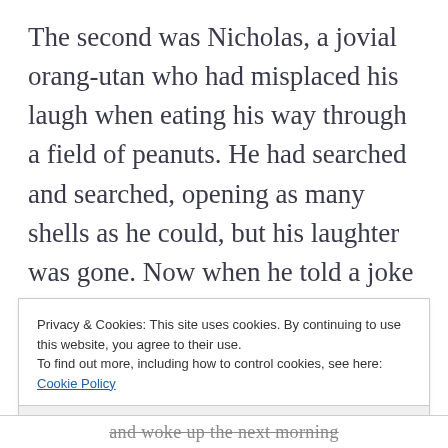The second was Nicholas, a jovial orang-utan who had misplaced his laugh when eating his way through a field of peanuts. He had searched and searched, opening as many shells as he could, but his laughter was gone. Now when he told a joke all he could raise was a smile and he felt his world was dull without his belly laugh that could
Privacy & Cookies: This site uses cookies. By continuing to use this website, you agree to their use.
To find out more, including how to control cookies, see here: Cookie Policy
Close and accept
and woke up the next morning